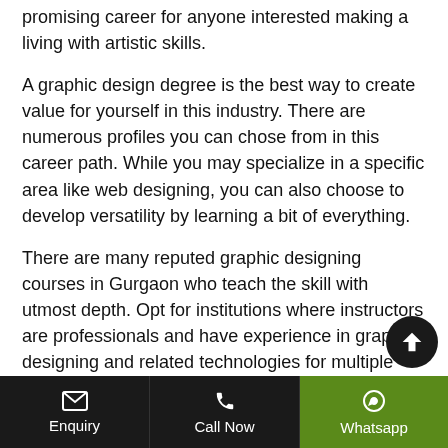promising career for anyone interested making a living with artistic skills.
A graphic design degree is the best way to create value for yourself in this industry. There are numerous profiles you can chose from in this career path. While you may specialize in a specific area like web designing, you can also choose to develop versatility by learning a bit of everything.
There are many reputed graphic designing courses in Gurgaon who teach the skill with utmost depth. Opt for institutions where instructors are professionals and have experience in graphic designing and related technologies for multiple years in various MNC's. So, enroll in one such institute and start your career with best graphic designing training in Gurgaon Sector 14
Enquiry | Call Now | Whatsapp